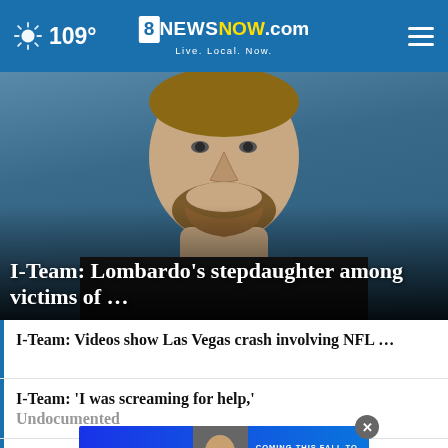109° 8NewsNOW.com Live. Local. Now.
[Figure (photo): Mugshot-style photo of a young man with brown hair and beard wearing a black shirt, against a blue-gray background]
I-Team: Lombardo's stepdaughter among victims of …
I-Team: Videos show Las Vegas crash involving NFL …
I-Team: 'I was screaming for help,' Undocumented
I-Te… Lombardo should…
[Figure (infographic): Chris Cuomo advertisement banner: 'COMING THIS FALL TO NEWSNATION FIND YOUR CHANNEL' with photo of Chris Cuomo]